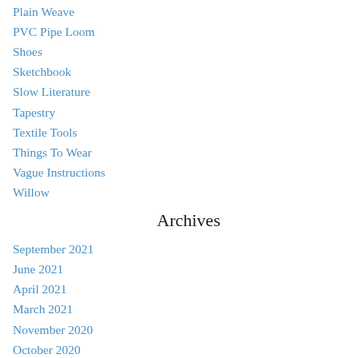Plain Weave
PVC Pipe Loom
Shoes
Sketchbook
Slow Literature
Tapestry
Textile Tools
Things To Wear
Vague Instructions
Willow
Archives
September 2021
June 2021
April 2021
March 2021
November 2020
October 2020
September 2020
August 2020
July 2020